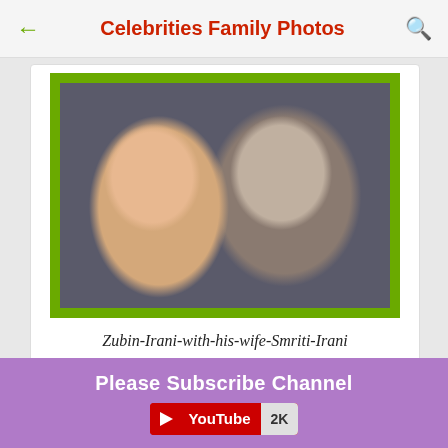Celebrities Family Photos
[Figure (photo): Photo of Zubin Irani with his wife Smriti Irani, framed with a green border]
Zubin-Irani-with-his-wife-Smriti-Irani
Please Subscribe Channel
[Figure (logo): YouTube subscribe button with 2K subscribers count]